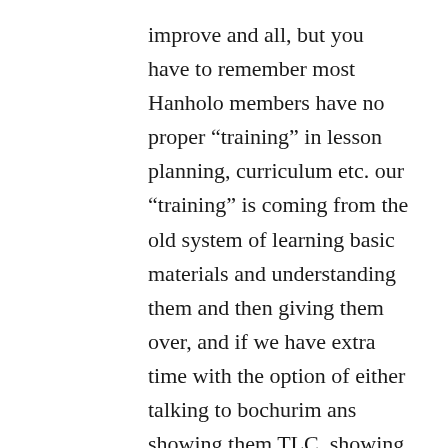improve and all, but you have to remember most Hanholo members have no proper “training” in lesson planning, curriculum etc. our “training” is coming from the old system of learning basic materials and understanding them and then giving them over, and if we have extra time with the option of either talking to bochurim ans showing them TLC, showing interest in their lives (which furthers the first and foremost goal) or preparing an interesting class, what has precedence? still, many Yeshivas are indeed doing many “non-traditional” things (just one example of many; in chovevei Torah zal they have an option of instead of learning regular gemara they have a special booklet on Sugyos of Halacha from the Gemara